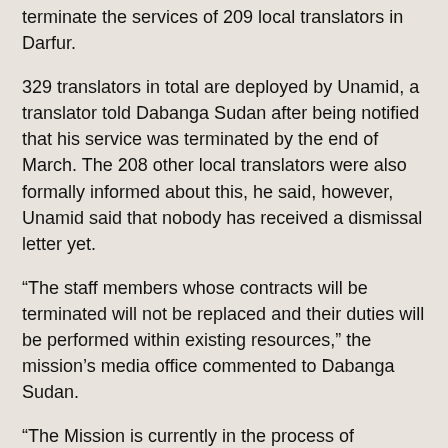terminate the services of 209 local translators in Darfur.
329 translators in total are deployed by Unamid, a translator told Dabanga Sudan after being notified that his service was terminated by the end of March. The 208 other local translators were also formally informed about this, he said, however, Unamid said that nobody has received a dismissal letter yet.
“The staff members whose contracts will be terminated will not be replaced and their duties will be performed within existing resources,” the mission’s media office commented to Dabanga Sudan.
“The Mission is currently in the process of determining, through a transparent and consultative process which individual staff members will be affected.”
The translator worried that there is a trend in Unamid to replace all local translators with others from Arab countries. “Sheikhs and Omdas in the states of Darfur said not to cooperate with such translators in the event the mission carries out [the replacement],” he stressed, pointing to a lack of topographical, linguistic and cultural